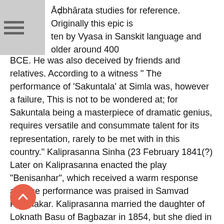Āḍbhārata studies for reference. Originally this epic is ten by Vyasa in Sanskit language and older around 400
BCE. He was also deceived by friends and relatives. According to a witness " The performance of 'Sakuntala' at Simla was, however a failure, This is not to be wondered at; for Sakuntala being a masterpiece of dramatic genius, requires versatile and consummate talent for its representation, rarely to be met with in this country." Kaliprasanna Sinha (23 February 1841(?) Later on Kaliprasanna enacted the play "Benisanhar", which received a warm response and the performance was praised in Samvad Prabhakar. Kaliprasanna married the daughter of Loknath Basu of Bagbazar in 1854, but she died in a few years. Mahabharata lectures in Bengali, delivered by Swami Samarpanananda at the Ramakrishna Mission Vivekananda University Addeddate 2012-11-19 14:29:22 Identifier Mahabharata--TalksInBengaliPart1 Identifier-ark